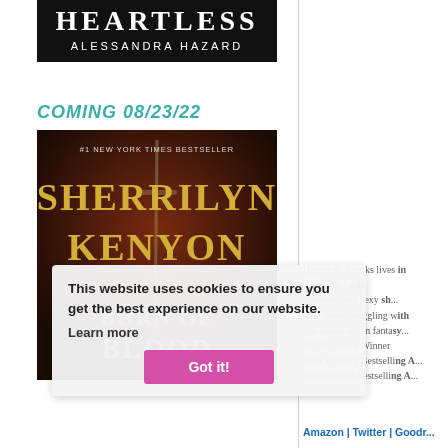[Figure (illustration): Book cover for 'Heartless' by Alessandra Hazard — dark background with title and author name in white text]
COMING 08/23/22
[Figure (illustration): Book cover for 'Born of Blood' by Sherrilyn Kenyon — #1 New York Times Bestseller, dark fantasy cover with sword]
This website uses cookies to ensure you get the best experience on our website. Learn more  Got it!
Harper A. Brooks lives in ... she finds ... worlds with sexy sh... or at home snuggling with... She writes urban fantasy... RONE Award Winner USA TODAY Bestselling A... International Bestselling A...
Amazon | Twitter | Goodr...